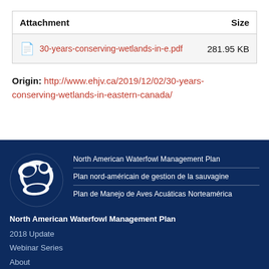| Attachment | Size |
| --- | --- |
| 30-years-conserving-wetlands-in-e.pdf | 281.95 KB |
Origin: http://www.ehjv.ca/2019/12/02/30-years-conserving-wetlands-in-eastern-canada/
[Figure (logo): North American Waterfowl Management Plan logo — white duck/waterfowl silhouette in a circle on dark blue background]
North American Waterfowl Management Plan
Plan nord-américain de gestion de la sauvagine
Plan de Manejo de Aves Acuáticas Norteamérica
North American Waterfowl Management Plan
2018 Update
Webinar Series
About
Timeline